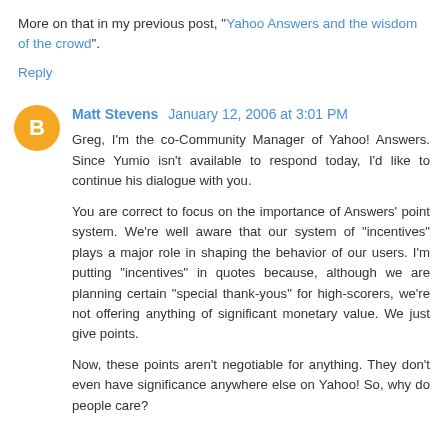More on that in my previous post, "Yahoo Answers and the wisdom of the crowd".
Reply
Matt Stevens  January 12, 2006 at 3:01 PM
Greg, I'm the co-Community Manager of Yahoo! Answers. Since Yumio isn't available to respond today, I'd like to continue his dialogue with you.
You are correct to focus on the importance of Answers' point system. We're well aware that our system of "incentives" plays a major role in shaping the behavior of our users. I'm putting "incentives" in quotes because, although we are planning certain "special thank-yous" for high-scorers, we're not offering anything of significant monetary value. We just give points.
Now, these points aren't negotiable for anything. They don't even have significance anywhere else on Yahoo! So, why do people care?